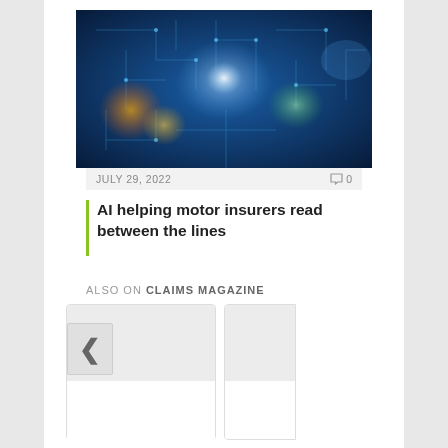[Figure (photo): Technology/AI themed photograph showing circuit board with blue glowing light lines and bokeh colorful lights (orange, yellow, green) on dark background]
JULY 29, 2022   💬 0
AI helping motor insurers read between the lines
ALSO ON CLAIMS MAGAZINE
[Figure (screenshot): Carousel navigation widget with left chevron button on left card and right chevron button on right partial card, with empty card placeholders below for related articles]
[Figure (other): Right partial card, cut off at page edge]